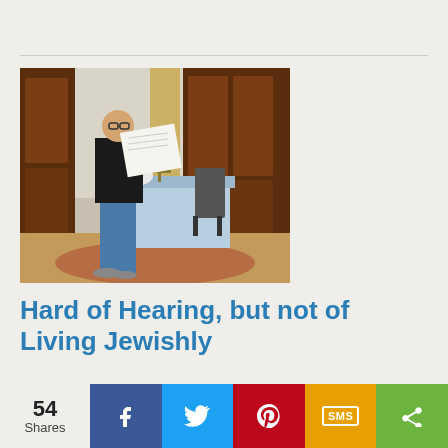[Figure (photo): Person standing indoors reading a large document/paper near a table with a blue tablecloth, flowers, and a menorah, in an elegant room with dark wood paneling and curtains.]
Hard of Hearing, but not of Living Jewishly
By Rachel Dubin
It has been over 30 years since I decided to really consider...
[Figure (infographic): Social share bar showing 54 Shares, with buttons for Facebook, Twitter, Pinterest, SMS, and more/share.]